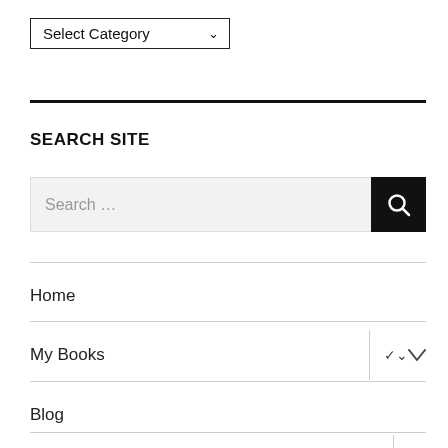[Figure (screenshot): Dropdown selector showing 'Select Category' with a chevron arrow]
SEARCH SITE
[Figure (screenshot): Search input field with placeholder 'Search ...' and a black search button with magnifying glass icon]
Home
My Books
Blog
Q&A